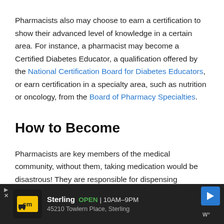Pharmacists also may choose to earn a certification to show their advanced level of knowledge in a certain area. For instance, a pharmacist may become a Certified Diabetes Educator, a qualification offered by the National Certification Board for Diabetes Educators, or earn certification in a specialty area, such as nutrition or oncology, from the Board of Pharmacy Specialties.
How to Become
Pharmacists are key members of the medical community, without them, taking medication would be disastrous! They are responsible for dispensing prescribed medications, assisting patients in understanding how to take their medications,
[Figure (infographic): Advertisement banner for CM (Couch Masters?) store in Sterling, showing store logo, open status (OPEN 10AM-9PM), address (45210 Towlern Place, Sterling), navigation arrow button, and Waze logo.]